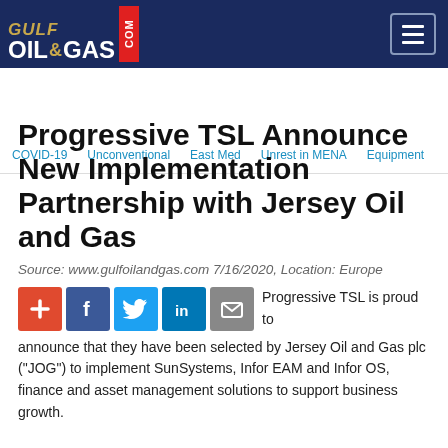Gulf Oil & Gas .com
COVID-19  Unconventional  East Med  Unrest in MENA  Equipment
Progressive TSL Announce New Implementation Partnership with Jersey Oil and Gas
Source: www.gulfoilandgas.com 7/16/2020, Location: Europe
[Figure (infographic): Social share buttons: Add (+), Facebook, Twitter, LinkedIn, Email]
Progressive TSL is proud to announce that they have been selected by Jersey Oil and Gas plc (“JOG”) to implement SunSystems, Infor EAM and Infor OS, finance and asset management solutions to support business growth.